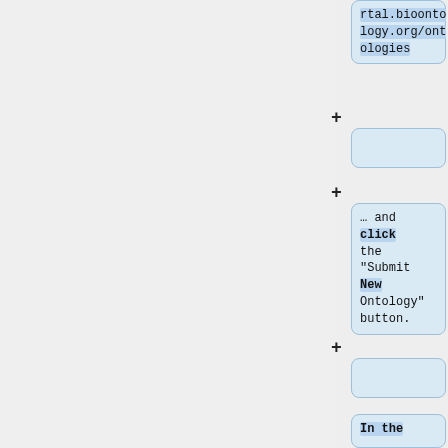rtal.bioontology.org/ontologies
(empty step box)
… and click the "Submit New Ontology" button.
(empty step box)
In the resulting form, you'll be asked to fill out some metadata about your ontology,